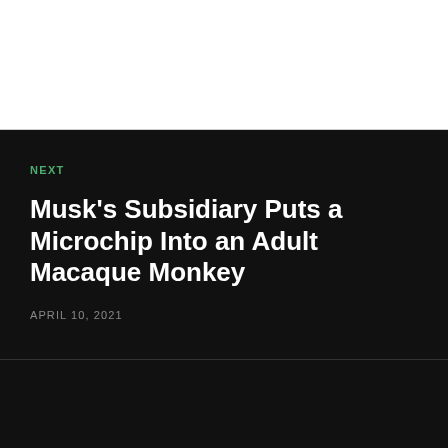NEXT
Musk's Subsidiary Puts a Microchip Into an Adult Macaque Monkey
APRIL 10, 2021